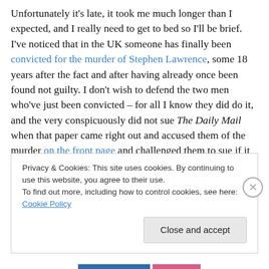Unfortunately it's late, it took me much longer than I expected, and I really need to get to bed so I'll be brief. I've noticed that in the UK someone has finally been convicted for the murder of Stephen Lawrence, some 18 years after the fact and after having already once been found not guilty. I don't wish to defend the two men who've just been convicted – for all I know they did do it, and the very conspicuously did not sue The Daily Mail when that paper came right out and accused them of the murder on the front page and challenged them to sue if it was wrong. This is one of those awkward situations where I think that
Privacy & Cookies: This site uses cookies. By continuing to use this website, you agree to their use.
To find out more, including how to control cookies, see here: Cookie Policy
Close and accept